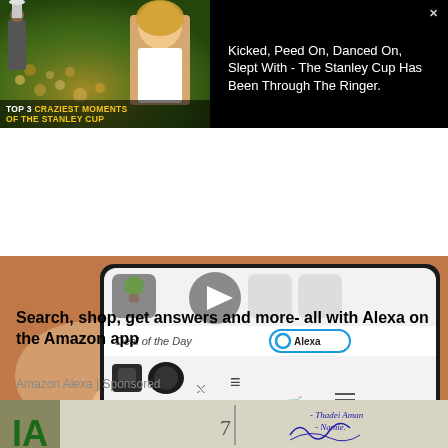[Figure (screenshot): Top banner ad with video thumbnail: Stanley Cup sports moment on left with text 'TOP 3 CRAZIEST MOMENTS OF THE STANLEY CUP', and headline on right reading 'Kicked, Peed On, Danced On, Slept With - The Stanley Cup Has Been Through The Ringer.' on black background.]
[Figure (screenshot): Amazon app advertisement showing a phone screen with Alexa button, Deal of the Day section, camera icons, cart and search icons. Video timer shows 00:15.]
Search, shop, get answers and more- all with Alexa on the Amazon app
Amazon Alexa | Sponsored
[Figure (photo): Bottom partial image showing green letters and a handwritten signature on a light background.]